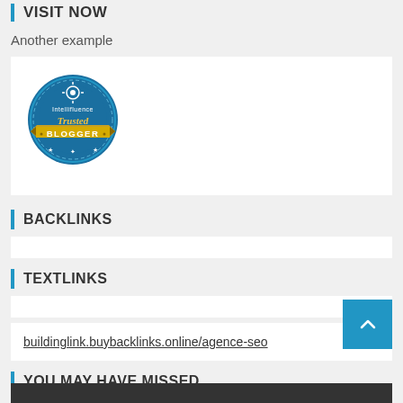VISIT NOW
Another example
[Figure (logo): Intellifluence Trusted Blogger badge — circular blue badge with yellow ribbon banner reading BLOGGER]
BACKLINKS
TEXTLINKS
buildinglink.buybacklinks.online/agence-seo
YOU MAY HAVE MISSED